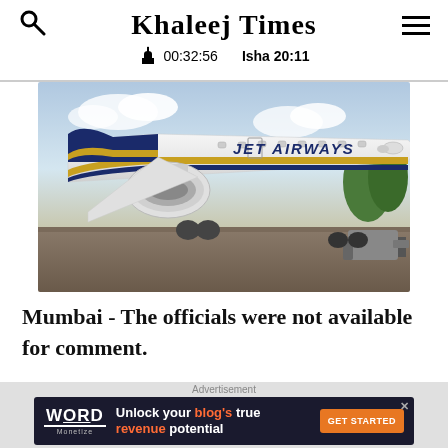Khaleej Times | 00:32:56 | Isha 20:11
[Figure (photo): Jet Airways aircraft (white and gold livery, Boeing 777) parked on tarmac with ground equipment nearby, overcast sky.]
Mumbai - The officials were not available for comment.
[Figure (other): Advertisement banner: Word Monetize - 'Unlock your blog's true revenue potential' with GET STARTED button]